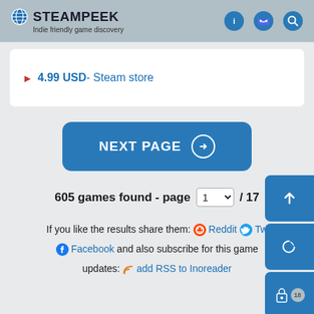STEAMPEEK - Indie friendly game discovery
4.99 USD - Steam store
NEXT PAGE
605 games found - page 1 / 17
If you like the results share them: Reddit Tw Facebook and also subscribe for this game updates: add RSS to Inoreader